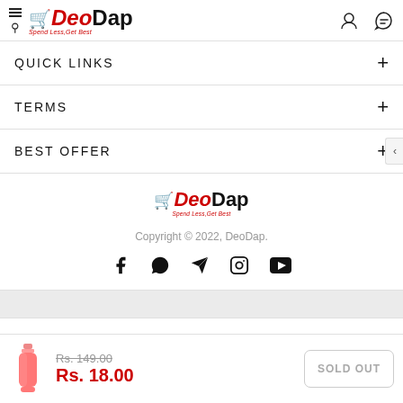DeoDap - Spend Less, Get Best
QUICK LINKS
TERMS
BEST OFFER
[Figure (logo): DeoDap logo with cart icon, red italic Deo, black Dap, tagline Spend Less, Get Best]
Copyright © 2022, DeoDap.
[Figure (infographic): Social media icons: Facebook, WhatsApp, Telegram, Instagram, YouTube]
Rs. 149.00  Rs. 18.00  SOLD OUT
[Figure (photo): Small pink bottle product thumbnail]